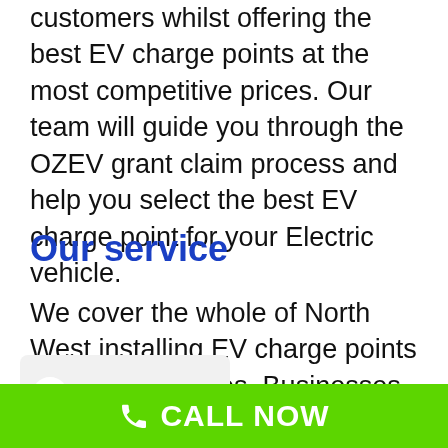customers whilst offering the best EV charge points at the most competitive prices. Our team will guide you through the OZEV grant claim process and help you select the best EV charge point for your Electric vehicle.
Our service
We cover the whole of North West installing EV charge points on Eligible Homes, Businesses and the Workplace under the
[Figure (other): Google review overlay showing 4.8 star rating with Google G logo and gold stars]
CALL NOW